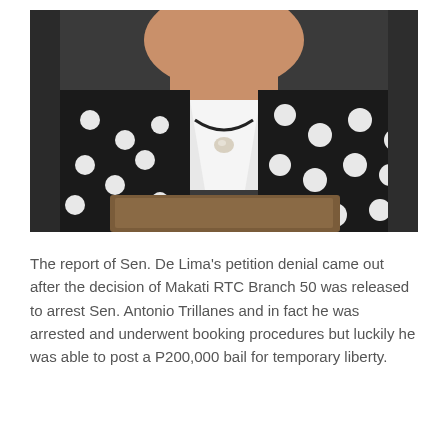[Figure (photo): Close-up photo of a woman wearing a black and white polka dot outfit with a white scarf and pearl necklace, looking downward, possibly reading from a podium or lectern.]
The report of Sen. De Lima's petition denial came out after the decision of Makati RTC Branch 50 was released to arrest Sen. Antonio Trillanes and in fact he was arrested and underwent booking procedures but luckily he was able to post a P200,000 bail for temporary liberty.